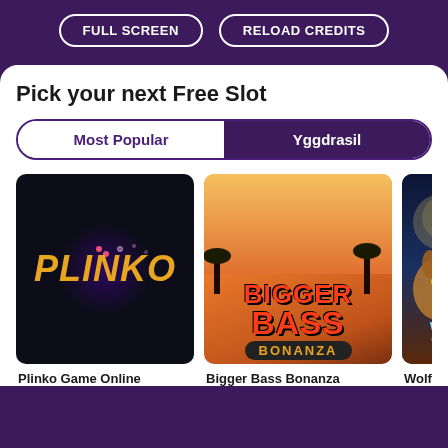FULL SCREEN   RELOAD CREDITS
Pick your next Free Slot
Most Popular | Yggdrasil
[Figure (screenshot): Plinko Game Online slot thumbnail — dark background with purple glow and yellow italic PLINKO text]
Plinko Game Online
[Figure (screenshot): Bigger Bass Bonanza slot thumbnail — orange fishing themed background with BIGGER BASS BONANZA logo]
Bigger Bass Bonanza
[Figure (screenshot): Wolf Gold slot thumbnail — partially visible, dark blue background with wolf and DROPS & WINS badge]
Wolf Gold